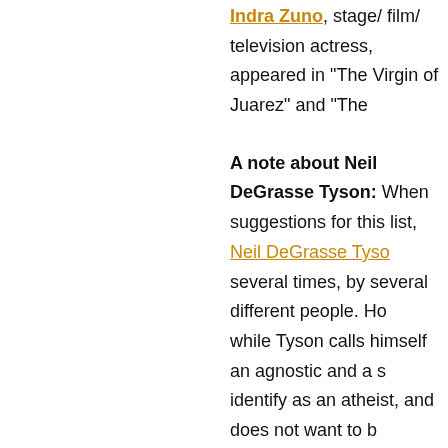Indra Zuno, stage/ film/ television actress, appeared in "The Virgin of Juarez" and "The...
A note about Neil DeGrasse Tyson: When suggestions for this list, Neil DeGrasse Tyso... several times, by several different people. Ho... while Tyson calls himself an agnostic and a s... identify as an atheist, and does not want to b... atheist movement. If anyone has current info... does, in fact, identify as an atheist -- and can... happily put him on the list. Until then, I'll re... identify as he chooses. (Ditto with Ibn Warra... agnostic but not an atheist.)
GROUPS/ ORGANIZATIONS/ C
African Americans for Humanism
African Americans for Humanism DC